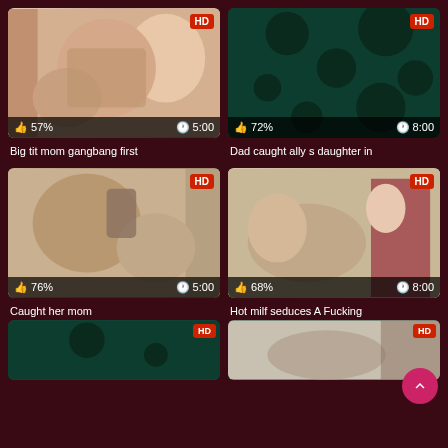[Figure (screenshot): Video thumbnail grid - adult video website showing 4 video cards in 2x2 grid plus partial bottom row]
Big tit mom gangbang first
Dad caught ally s daughter in
Caught her mom
Hot milf seduces A Fucking